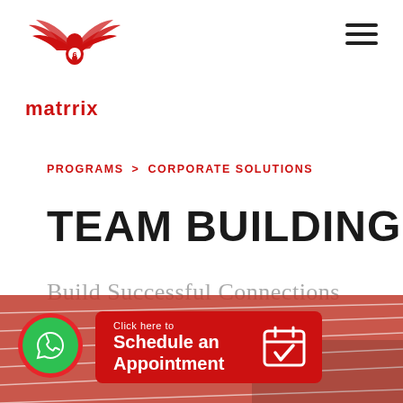[Figure (logo): Matrrix logo: red winged figure with '6' and text 'matrrix' below in red]
[Figure (other): Hamburger menu icon (three horizontal black bars) in top right corner]
PROGRAMS > CORPORATE SOLUTIONS
TEAM BUILDING
Build Successful Connections
[Figure (other): Bottom banner showing running track with green phone WhatsApp button and red 'Click here to Schedule an Appointment' button with calendar icon]